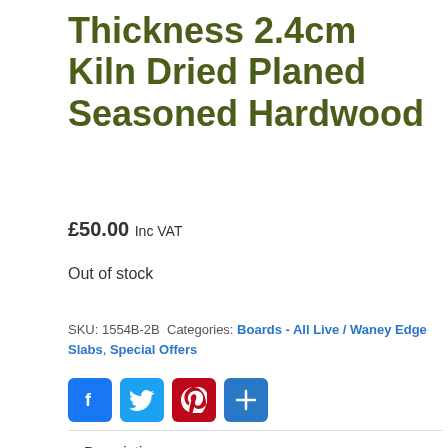Thickness 2.4cm Kiln Dried Planed Seasoned Hardwood
£50.00 Inc VAT
Out of stock
SKU: 1554B-2B  Categories: Boards - All Live / Waney Edge Slabs, Special Offers
[Figure (other): Social sharing buttons: Facebook, Twitter, Pinterest, Share (plus)]
Description
Additional information